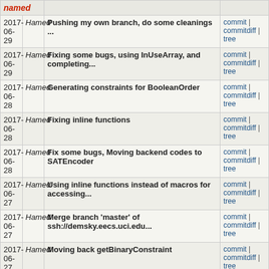| Date | Author | Commit message | Links |
| --- | --- | --- | --- |
| 2017-06-29 | Hamed | Pushing my own branch, do some cleanings ... | commit | commitdiff | tree |
| 2017-06-29 | Hamed | Fixing some bugs, using InUseArray, and completing... | commit | commitdiff | tree |
| 2017-06-28 | Hamed | Generating constraints for BooleanOrder | commit | commitdiff | tree |
| 2017-06-28 | Hamed | Fixing inline functions | commit | commitdiff | tree |
| 2017-06-28 | Hamed | Fix some bugs, Moving backend codes to SATEncoder | commit | commitdiff | tree |
| 2017-06-27 | Hamed | Using inline functions instead of macros for accessing... | commit | commitdiff | tree |
| 2017-06-27 | Hamed | Merge branch 'master' of ssh://demsky.eecs.uci.edu... | commit | commitdiff | tree |
| 2017-06-27 | Hamed | Moving back getBinaryConstraint | commit | commitdiff | tree |
| 2017-06-27 | Hamed | Binary encoding for ElementSet and table-based ElementFunction | commit | commitdiff | tree |
| 2017-06-24 | Hamed | Merge branch 'master' of ssh://demsky.eecs.uci.edu... | commit | commitdiff | tree |
| 2017-06-24 | Hamed | Fixing bug with running the test | commit | commitdiff | tree |
| 2017-06-24 | Hamed | DecideEncoding | commit | commitdiff | tree |
| 2017-06-24 | Hamed | Merge branch 'master' of ssh://demsky.eecs.uci.edu... | commit | commitdiff | tree |